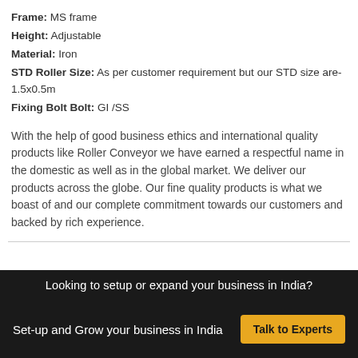Frame: MS frame
Height: Adjustable
Material: Iron
STD Roller Size: As per customer requirement but our STD size are-1.5x0.5m
Fixing Bolt Bolt: GI /SS
With the help of good business ethics and international quality products like Roller Conveyor we have earned a respectful name in the domestic as well as in the global market. We deliver our products across the globe. Our fine quality products is what we boast of and our complete commitment towards our customers and backed by rich experience.
Looking to setup or expand your business in India? Set-up and Grow your business in India  Talk to Experts